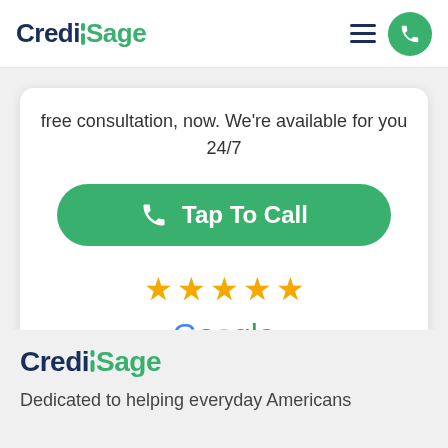CreditSage
free consultation, now. We're available for you 24/7
Tap To Call
[Figure (other): Five gold star rating icons]
[Figure (logo): Google Reviews logo with five small gold stars]
[Figure (logo): CreditSage logo in footer]
Dedicated to helping everyday Americans